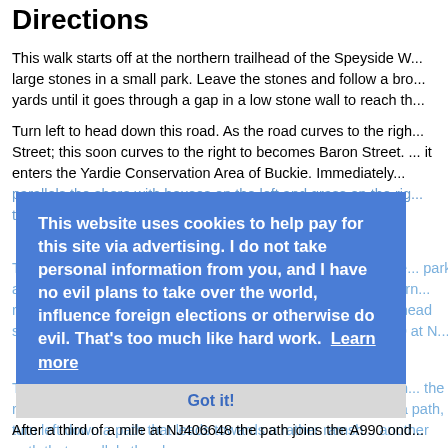Directions
This walk starts off at the northern trailhead of the Speyside W... large stones in a small park. Leave the stones and follow a bro... yards until it goes through a gap in a low stone wall to reach th...
Turn left to head down this road. As the road curves to the righ... Street; this soon curves to the right to becomes Baron Street. ... it enters the Yardie Conservation Area of Buckie. Immediately... parallels the shore with houses on the left and grass on the rig... to rejoin the A990.
[Figure (screenshot): Cookie consent overlay on a blue background saying: 'This website uses cookies to help pay for this site via advertising. I do not take personal information from you, and I have no evil plans to take over the world, influence foreign elections or otherwise do evil. That's too much like hard work. Learn more' with a 'Got it!' button below.]
Turn right and follow the road as it crosses the Burn of Buckie... park and Buckie Harbour on the right. Turn right down the entr... turn... road... curves to the left. Do not follow the road, and instead head str... off to the left and then take the second to rejoin the A990 at N...
Turn right and follow the A990 west-southwestwards for anoth... the right, angling towards the shore through gorse bushes. Aft... a path, turn left down a path that leads towards a rather ramsh... another path that parallels the shore.
After a third of a mile at NJ406648 the path joins the A990 ond...